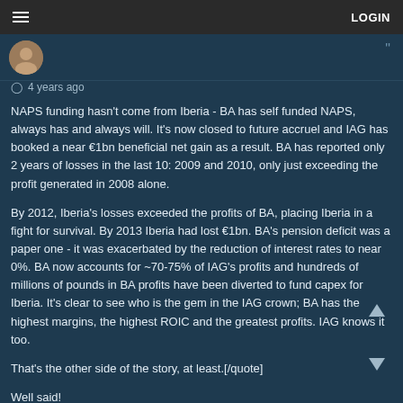≡  LOGIN
4 years ago
NAPS funding hasn't come from Iberia - BA has self funded NAPS, always has and always will. It's now closed to future accruel and IAG has booked a near €1bn beneficial net gain as a result. BA has reported only 2 years of losses in the last 10: 2009 and 2010, only just exceeding the profit generated in 2008 alone.
By 2012, Iberia's losses exceeded the profits of BA, placing Iberia in a fight for survival. By 2013 Iberia had lost €1bn. BA's pension deficit was a paper one - it was exacerbated by the reduction of interest rates to near 0%. BA now accounts for ~70-75% of IAG's profits and hundreds of millions of pounds in BA profits have been diverted to fund capex for Iberia. It's clear to see who is the gem in the IAG crown; BA has the highest margins, the highest ROIC and the greatest profits. IAG knows it too.
That's the other side of the story, at least.[/quote]
Well said!